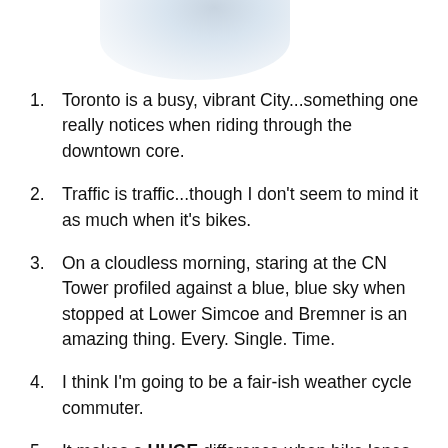[Figure (photo): Partial photo of a person or object visible at the top of the page, cropped, with blurred white and light blue tones.]
Toronto is a busy, vibrant City...something one really notices when riding through the downtown core.
Traffic is traffic...though I don't seem to mind it as much when it's bikes.
On a cloudless morning, staring at the CN Tower profiled against a blue, blue sky when stopped at Lower Simcoe and Bremner is an amazing thing. Every. Single. Time.
I think I'm going to be a fair-ish weather cycle commuter.
It makes a HUGE difference when bike lanes are